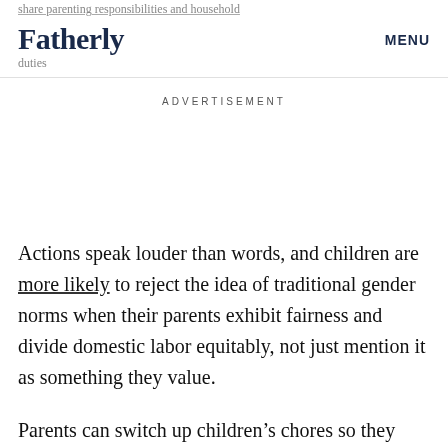share parenting responsibilities and household
Fatherly
MENU
duties
ADVERTISEMENT
Actions speak louder than words, and children are more likely to reject the idea of traditional gender norms when their parents exhibit fairness and divide domestic labor equitably, not just mention it as something they value.
Parents can switch up children's chores so they